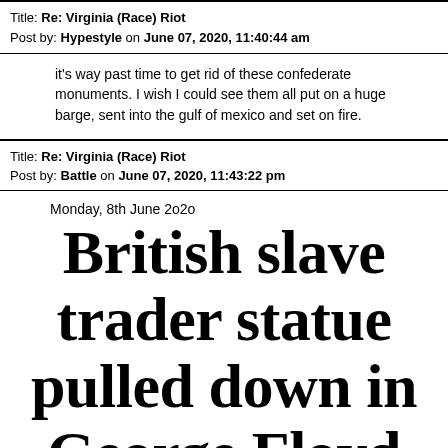Title: Re: Virginia (Race) Riot
Post by: Hypestyle on June 07, 2020, 11:40:44 am
it's way past time to get rid of these confederate monuments. I wish I could see them all put on a huge barge, sent into the gulf of mexico and set on fire.
Title: Re: Virginia (Race) Riot
Post by: Battle on June 07, 2020, 11:43:22 pm
Monday, 8th June 2o2o
British slave trader statue pulled down in George Floyd demonstration